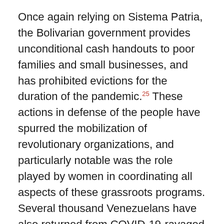Once again relying on Sistema Patria, the Bolivarian government provides unconditional cash handouts to poor families and small businesses, and has prohibited evictions for the duration of the pandemic.25 These actions in defense of the people have spurred the mobilization of revolutionary organizations, and particularly notable was the role played by women in coordinating all aspects of these grassroots programs. Several thousand Venezuelans have also returned from COVID-19-ravaged countries in Latin America through the Vuelta a la Patria (Return to the Homeland) program.26
Venezuela, much like Cuba, continues to suffer at the hands of an economic war instigated by Washington. In addition to these destabilizing measures, 2020 saw the U.S.-backed Operation